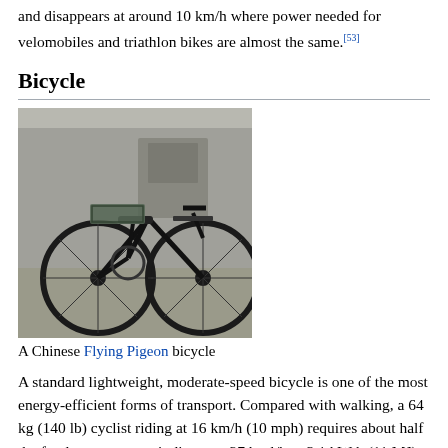and disappears at around 10 km/h where power needed for velomobiles and triathlon bikes are almost the same.[53]
Bicycle
[Figure (photo): A Chinese Flying Pigeon bicycle parked on a street.]
A Chinese Flying Pigeon bicycle
A standard lightweight, moderate-speed bicycle is one of the most energy-efficient forms of transport. Compared with walking, a 64 kg (140 lb) cyclist riding at 16 km/h (10 mph) requires about half the food energy per unit distance: 27 kcal/km, 3.1 kW·h (11 MJ) per 100 km, or 43 kcal/mi.[15] This converts to about 732 mpg-US (0.321 L/100 km; 879 mpg-imp).[23] This means that a bicycle will use between 10 and 25 times less energy per distance travelled than a personal car, depending on fuel source and size of the car. This figure does depend on the speed and mass of the rider;